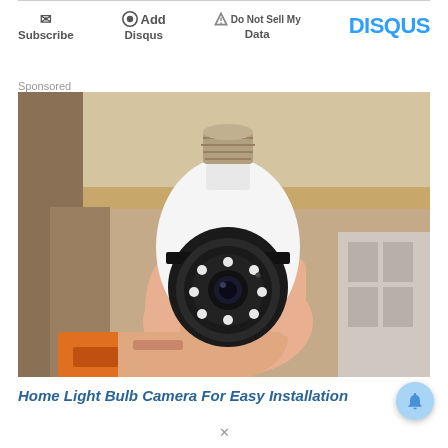Subscribe | Add Disqus | Do Not Sell My Data | DISQUS
Sponsored
[Figure (photo): A hand holding a white light bulb security camera with a screw base (E27 socket), black camera module with LED ring and lens, photographed in a warehouse/storage setting with cardboard boxes in the background.]
Home Light Bulb Camera For Easy Installation